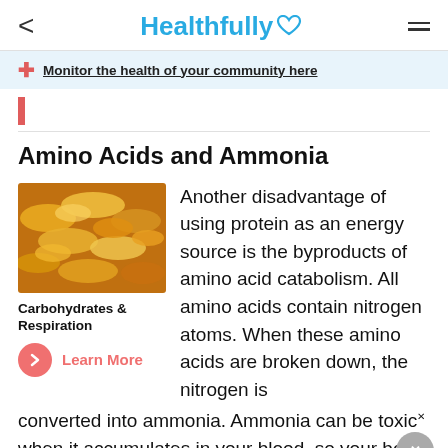< Healthfully ♡ ≡
Monitor the health of your community here
Amino Acids and Ammonia
[Figure (photo): Close-up photo of golden cornflakes or cereal flakes]
Carbohydrates & Respiration
Learn More
Another disadvantage of using protein as an energy source is the byproducts of amino acid catabolism. All amino acids contain nitrogen atoms. When these amino acids are broken down, the nitrogen is converted into ammonia. Ammonia can be toxic when it accumulates in your blood, so your body